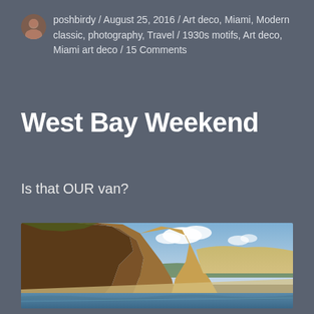poshbirdy / August 25, 2016 / Art deco, Miami, Modern classic, photography, Travel / 1930s motifs, Art deco, Miami art deco / 15 Comments
West Bay Weekend
Is that OUR van?
[Figure (photo): Coastal cliff landscape with sandy/rocky cliffs on the left, a beach at the bottom, blue sky with white clouds, and rolling green hills in the background. Taken from the water.]